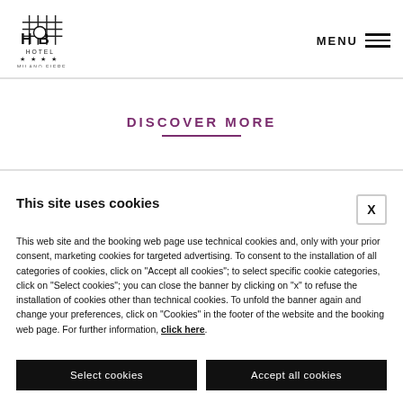[Figure (logo): The Hub Hotel Milano Fiere four-star hotel logo with grid/hashtag symbol]
MENU
DISCOVER MORE
This site uses cookies
This web site and the booking web page use technical cookies and, only with your prior consent, marketing cookies for targeted advertising. To consent to the installation of all categories of cookies, click on "Accept all cookies"; to select specific cookie categories, click on "Select cookies"; you can close the banner by clicking on "x" to refuse the installation of cookies other than technical cookies. To unfold the banner again and change your preferences, click on "Cookies" in the footer of the website and the booking web page. For further information, click here.
Select cookies
Accept all cookies